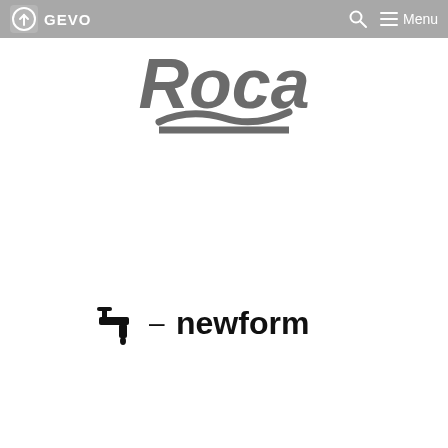GEVO | Menu
[Figure (logo): Roca logo in gray: large bold italic text 'Roca' with a stylized wave/swoosh mark beneath]
[Figure (logo): Newform logo: a small faucet/tap icon followed by an em dash and the word 'newform' in bold sans-serif]